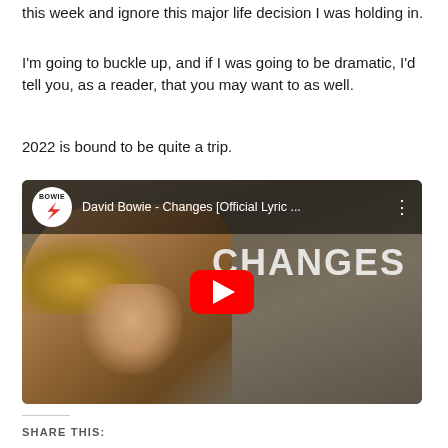this week and ignore this major life decision I was holding in.
I'm going to buckle up, and if I was going to be dramatic, I'd tell you, as a reader, that you may want to as well.
2022 is bound to be quite a trip.
[Figure (screenshot): YouTube video embed thumbnail for 'David Bowie - Changes [Official Lyric ...' showing David Bowie with hands on face and the word CHANGES in large letters, with a red YouTube play button in the center and the Bowie lightning bolt logo in the top left.]
SHARE THIS: